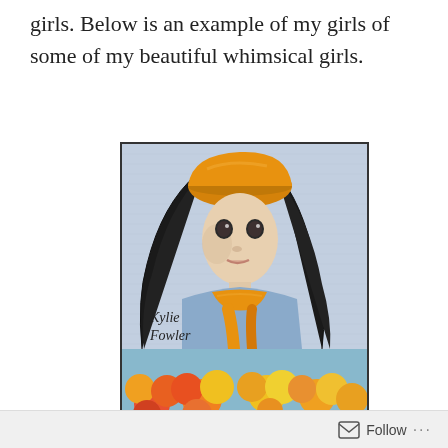girls. Below is an example of my girls of some of my beautiful whimsical girls.
[Figure (illustration): Whimsical illustration of a girl with black hair, orange/yellow knitted hat and scarf, wearing a blue top. The artwork is signed 'Kylie Fowler' in the lower left corner. Below is a partial second illustration showing colorful orange, red, and yellow flowers on a blue background.]
Follow ...